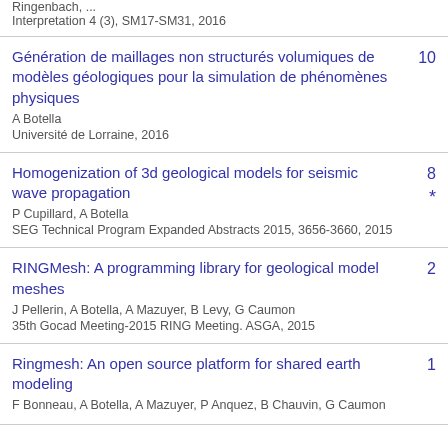Ringenbach, ...
Interpretation 4 (3), SM17-SM31, 2016
Génération de maillages non structurés volumiques de modèles géologiques pour la simulation de phénomènes physiques
A Botella
Université de Lorraine, 2016
Homogenization of 3d geological models for seismic wave propagation
P Cupillard, A Botella
SEG Technical Program Expanded Abstracts 2015, 3656-3660, 2015
RINGMesh: A programming library for geological model meshes
J Pellerin, A Botella, A Mazuyer, B Levy, G Caumon
35th Gocad Meeting-2015 RING Meeting. ASGA, 2015
Ringmesh: An open source platform for shared earth modeling
F Bonneau, A Botella, A Mazuyer, P Anquez, B Chauvin, G Caumon